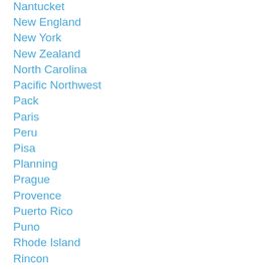Nantucket
New England
New York
New Zealand
North Carolina
Pacific Northwest
Pack
Paris
Peru
Pisa
Planning
Prague
Provence
Puerto Rico
Puno
Rhode Island
Rincon
Rome
Rtw Trip
Safar
Safari